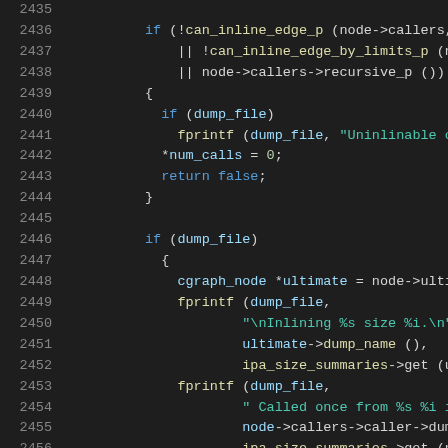[Figure (screenshot): Source code editor screenshot showing C/C++ code lines 2435-2456 with syntax highlighting on dark background. Code involves inlining checks with functions like can_inline_edge_p, can_inline_edge_by_limits_p, dump_file, fprintf, cgraph_node, and related variables.]